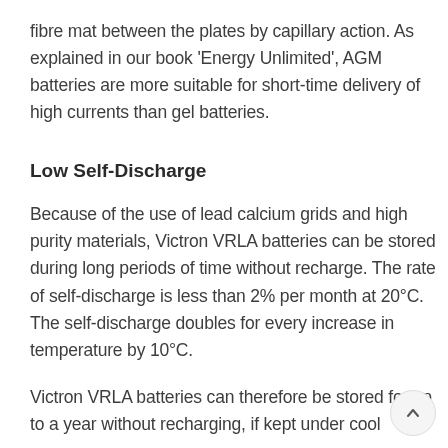fibre mat between the plates by capillary action. As explained in our book 'Energy Unlimited', AGM batteries are more suitable for short-time delivery of high currents than gel batteries.
Low Self-Discharge
Because of the use of lead calcium grids and high purity materials, Victron VRLA batteries can be stored during long periods of time without recharge. The rate of self-discharge is less than 2% per month at 20°C. The self-discharge doubles for every increase in temperature by 10°C.
Victron VRLA batteries can therefore be stored for up to a year without recharging, if kept under cool